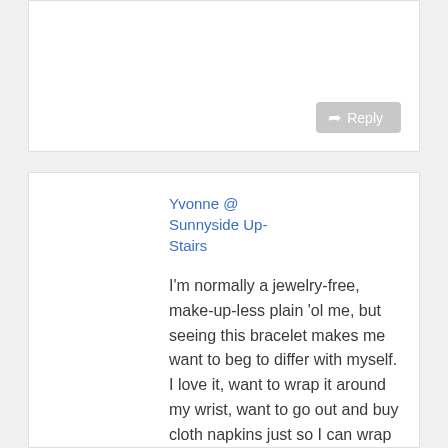[Figure (screenshot): Top portion of a comment card with a reply button (gray, with arrow icon and 'Reply' text) in the bottom-right corner.]
Yvonne @ Sunnyside Up-Stairs
I'm normally a jewelry-free, make-up-less plain 'ol me, but seeing this bracelet makes me want to beg to differ with myself. I love it, want to wrap it around my wrist, want to go out and buy cloth napkins just so I can wrap them with this too. Thank you for the tutorial!